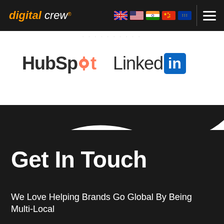[Figure (logo): Digital Crew logo with navigation bar containing country flags and hamburger menu on dark background]
[Figure (logo): HubSpot logo and LinkedIn logo side by side on white background]
Get In Touch
We Love Helping Brands Go Global By Being Multi-Local